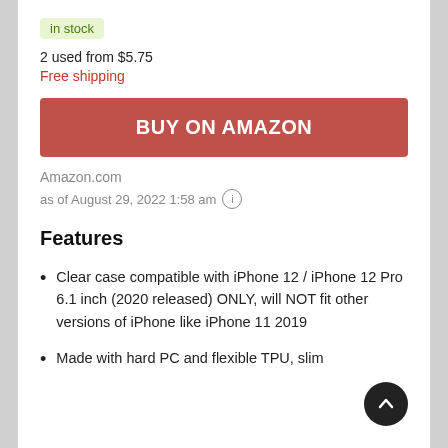in stock
2 used from $5.75
Free shipping
BUY ON AMAZON
Amazon.com
as of August 29, 2022 1:58 am
Features
Clear case compatible with iPhone 12 / iPhone 12 Pro 6.1 inch (2020 released) ONLY, will NOT fit other versions of iPhone like iPhone 11 2019
Made with hard PC and flexible TPU, slim